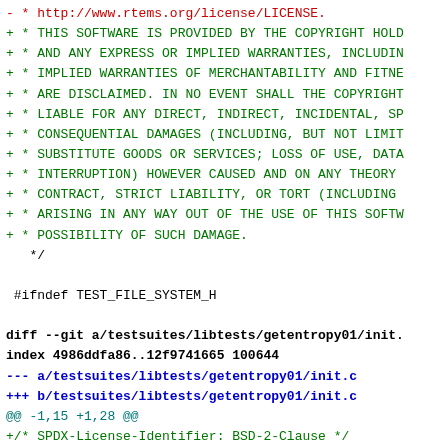- * http://www.rtems.org/license/LICENSE.
+ * THIS SOFTWARE IS PROVIDED BY THE COPYRIGHT HOLD
+ * AND ANY EXPRESS OR IMPLIED WARRANTIES, INCLUDIN
+ * IMPLIED WARRANTIES OF MERCHANTABILITY AND FITNE
+ * ARE DISCLAIMED. IN NO EVENT SHALL THE COPYRIGHT
+ * LIABLE FOR ANY DIRECT, INDIRECT, INCIDENTAL, SP
+ * CONSEQUENTIAL DAMAGES (INCLUDING, BUT NOT LIMIT
+ * SUBSTITUTE GOODS OR SERVICES; LOSS OF USE, DATA
+ * INTERRUPTION) HOWEVER CAUSED AND ON ANY THEORY
+ * CONTRACT, STRICT LIABILITY, OR TORT (INCLUDING
+ * ARISING IN ANY WAY OUT OF THE USE OF THIS SOFTW
+ * POSSIBILITY OF SUCH DAMAGE.
*/
#ifndef TEST_FILE_SYSTEM_H
diff --git a/testsuites/libtests/getentropy01/init.
index 4986ddfa86..12f9741665 100644
--- a/testsuites/libtests/getentropy01/init.c
+++ b/testsuites/libtests/getentropy01/init.c
@@ -1,15 +1,28 @@
+/* SPDX-License-Identifier: BSD-2-Clause */
+
/*
* Copyright (c) 2017 embedded brains GmbH.  All r
*
- *   embedded brains GmbH
- *   Dornierstr. 4
- *   82178 Puchheim
- *   Germany
- *   <rtems@embedded-brains.de>